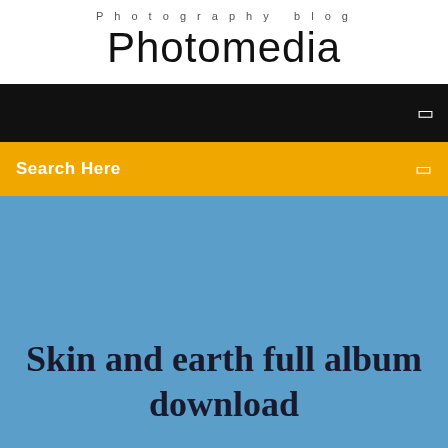Photography blog
Photomedia
[Figure (screenshot): Black navigation bar with a small square icon on the right]
[Figure (screenshot): Yellow/amber search bar with 'Search Here' text on the left and a small square icon on the right]
Skin and earth full album download